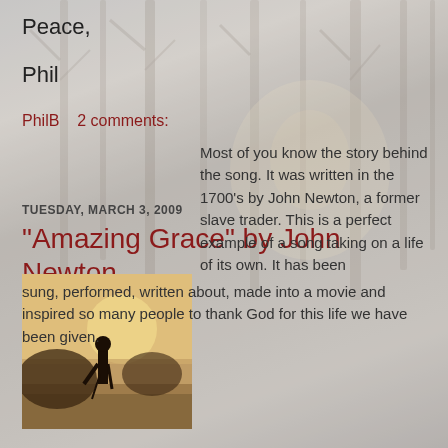Peace,
Phil
PhilB    2 comments:
Share
TUESDAY, MARCH 3, 2009
"Amazing Grace" by John Newton
[Figure (photo): Silhouette of a person standing in a misty field with bare trees and warm sunrise light in the background]
Most of you know the story behind the song. It was written in the 1700's by John Newton, a former slave trader. This is a perfect example of a song taking on a life of its own. It has been sung, performed, written about, made into a movie and inspired so many people to thank God for this life we have been given.